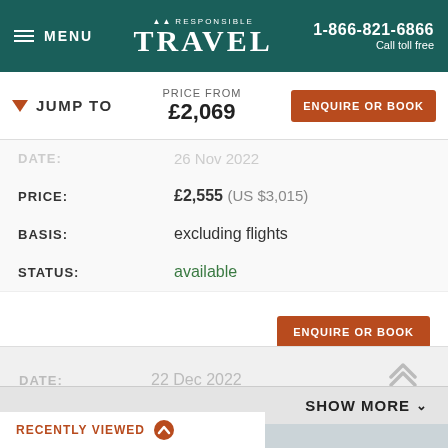MENU | RESPONSIBLE TRAVEL | 1-866-821-6866 Call toll free
JUMP TO | PRICE FROM £2,069 | ENQUIRE OR BOOK
| Field | Value |
| --- | --- |
| DATE: | 26 Nov 2022 |
| PRICE: | £2,555 (US $3,015) |
| BASIS: | excluding flights |
| STATUS: | available |
ENQUIRE OR BOOK
| Field | Value |
| --- | --- |
| DATE: | 22 Dec 2022 |
SHOW MORE
RECENTLY VIEWED